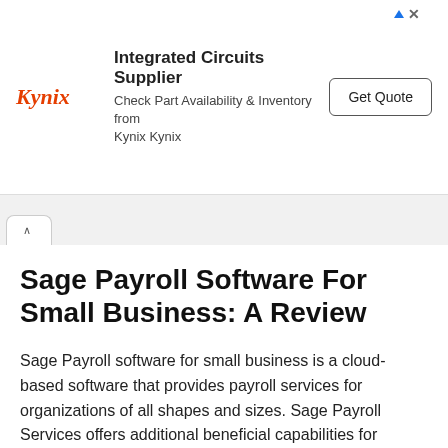[Figure (other): Kynix advertisement banner with Kynix logo, text 'Integrated Circuits Supplier – Check Part Availability & Inventory from Kynix Kynix', and a 'Get Quote' button]
Sage Payroll Software For Small Business: A Review
Sage Payroll software for small business is a cloud-based software that provides payroll services for organizations of all shapes and sizes. Sage Payroll Services offers additional beneficial capabilities for businesses like tax filing, accounting integration, and HR data management. Sage Payroll software for small businesses has three different plan options with